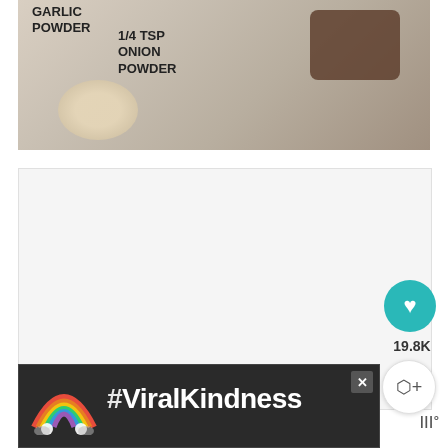[Figure (photo): Photo of cooking ingredients including garlic powder and 1/4 tsp onion powder labels overlaid on bowls of powdered spices with a cast iron pan in background]
[Figure (screenshot): White content area placeholder with three gray navigation dots]
[Figure (infographic): Advertisement banner with #ViralKindness text and rainbow graphic on dark background]